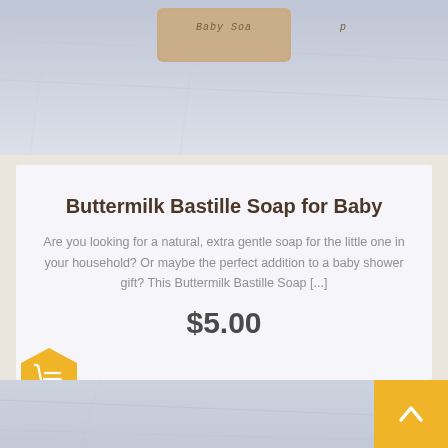[Figure (photo): Top portion of a bar of baby soap on a light blue-gray marble or stone surface. The soap bar is tan/beige colored with 'Baby Soap' text embossed on it.]
Buttermilk Bastille Soap for Baby
Are you looking for a natural, extra gentle soap for the little one in your household? Or maybe the perfect addition to a baby shower gift? This Buttermilk Bastille Soap [...]
$5.00
[Figure (illustration): Orange/yellow hexagonal add-to-cart button with a shopping cart icon]
[Figure (photo): Bottom portion showing another product image on a light blue-gray marble surface]
[Figure (illustration): Orange square scroll-to-top button with an upward arrow chevron icon]